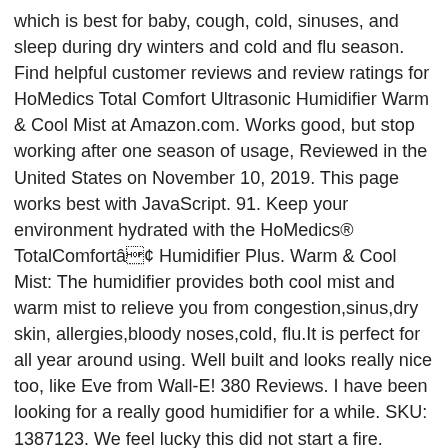which is best for baby, cough, cold, sinuses, and sleep during dry winters and cold and flu season. Find helpful customer reviews and review ratings for HoMedics Total Comfort Ultrasonic Humidifier Warm & Cool Mist at Amazon.com. Works good, but stop working after one season of usage, Reviewed in the United States on November 10, 2019. This page works best with JavaScript. 91. Keep your environment hydrated with the HoMedics® TotalComfort℃ Humidifier Plus. Warm & Cool Mist: The humidifier provides both cool mist and warm mist to relieve you from congestion,sinus,dry skin, allergies,bloody noses,cold, flu.It is perfect for all year around using. Well built and looks really nice too, like Eve from Wall-E! 380 Reviews. I have been looking for a really good humidifier for a while. SKU: 1387123. We feel lucky this did not start a fire. HoMedics HoMedics. Purchased from Costco, I've had this for 2 years but only used it from 1 winter season. Add to list . It's larger than it appears in the picture and highly functional. It's low maintenance, is easy to fill, and looks great. I wish Costco would take this product back no wonder it was sold so cheap there.. It produces a micro-fine mist with cool or warm